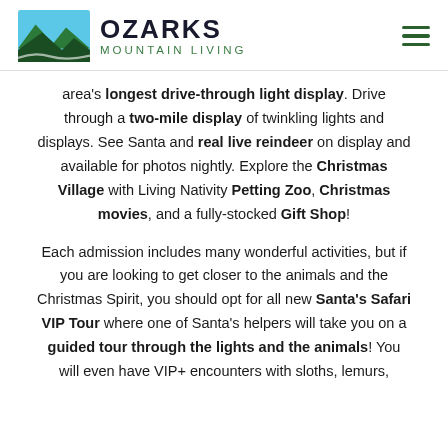[Figure (logo): Ozarks Mountain Living logo with mountain landscape illustration and text]
area's longest drive-through light display. Drive through a two-mile display of twinkling lights and displays. See Santa and real live reindeer on display and available for photos nightly. Explore the Christmas Village with Living Nativity Petting Zoo, Christmas movies, and a fully-stocked Gift Shop!
Each admission includes many wonderful activities, but if you are looking to get closer to the animals and the Christmas Spirit, you should opt for all new Santa's Safari VIP Tour where one of Santa's helpers will take you on a guided tour through the lights and the animals! You will even have VIP+ encounters with sloths, lemurs,